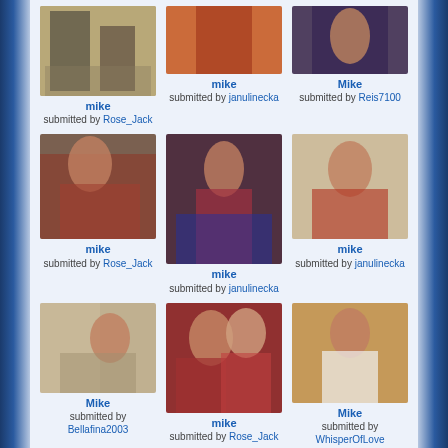[Figure (photo): Photo of Michael Jackson performing on stage with others]
mike
submitted by Rose_Jack
[Figure (photo): Photo of Michael Jackson in red costume]
mike
submitted by janulinecka
[Figure (photo): Photo of Michael Jackson performing on stage with microphone]
Mike
submitted by Reis7100
[Figure (photo): Photo of Michael Jackson with woman in red]
mike
submitted by Rose_Jack
[Figure (photo): Photo of Michael Jackson with child]
mike
submitted by janulinecka
[Figure (photo): Photo of Michael Jackson playing violin]
mike
submitted by janulinecka
[Figure (photo): Photo of Michael Jackson with people indoors]
Mike
submitted by Bellafina2003
[Figure (photo): Photo of Michael Jackson with woman in red outfit]
mike
submitted by Rose_Jack
[Figure (photo): Photo of Michael Jackson standing outdoors in white shirt]
Mike
submitted by WhisperOfLove
[Figure (photo): Partial photo bottom row left]
[Figure (photo): Partial photo bottom row center]
[Figure (photo): Partial photo bottom row right]